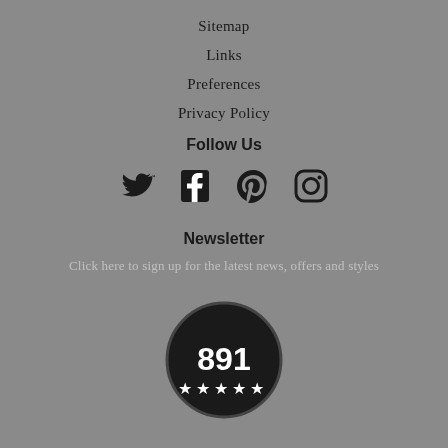Sitemap
Links
Preferences
Privacy Policy
Follow Us
[Figure (infographic): Social media icons: Twitter, Facebook, Pinterest, Instagram]
Newsletter
Click here to sign up for the latest news, offers and styles
[Figure (infographic): Circular badge showing number 891 with five stars below it, dark background with white text]